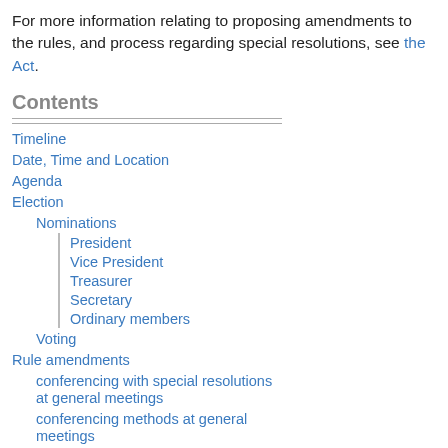For more information relating to proposing amendments to the rules, and process regarding special resolutions, see the Act.
Contents
Timeline
Date, Time and Location
Agenda
Election
Nominations
President
Vice President
Treasurer
Secretary
Ordinary members
Voting
Rule amendments
conferencing with special resolutions at general meetings
conferencing methods at general meetings